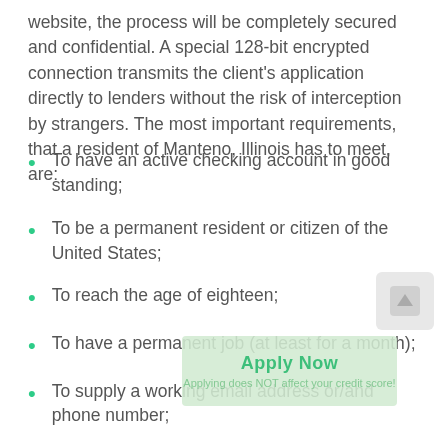website, the process will be completely secured and confidential. A special 128-bit encrypted connection transmits the client's application directly to lenders without the risk of interception by strangers. The most important requirements, that a resident of Manteno, Illinois has to meet, are:
To have an active checking account in good standing;
To be a permanent resident or citizen of the United States;
To reach the age of eighteen;
To have a permanent job (at least for a month);
To supply a working email address or/and phone number;
To not be involved in Manteno, IL military forces.
To have a good income, that can be proofed, through government checks or paychecks.